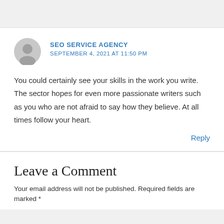SEO SERVICE AGENCY
SEPTEMBER 4, 2021 AT 11:50 PM
You could certainly see your skills in the work you write. The sector hopes for even more passionate writers such as you who are not afraid to say how they believe. At all times follow your heart.
Reply
Leave a Comment
Your email address will not be published. Required fields are marked *